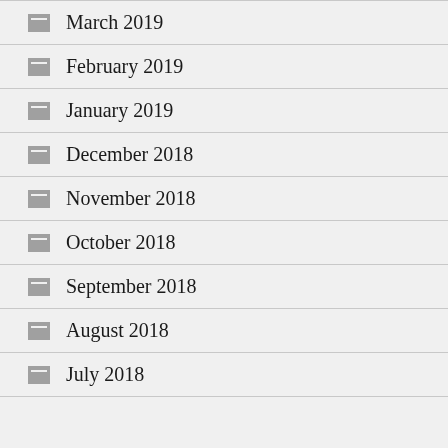March 2019
February 2019
January 2019
December 2018
November 2018
October 2018
September 2018
August 2018
July 2018